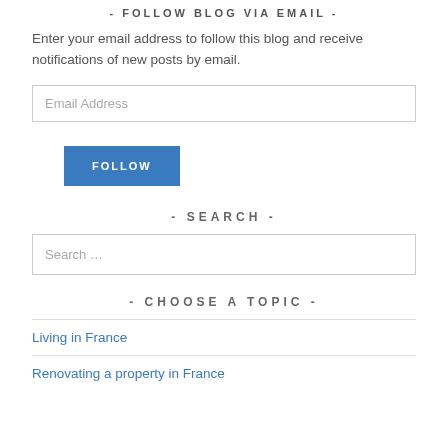- FOLLOW BLOG VIA EMAIL -
Enter your email address to follow this blog and receive notifications of new posts by email.
Email Address
FOLLOW
- SEARCH -
Search …
- CHOOSE A TOPIC -
Living in France
Renovating a property in France